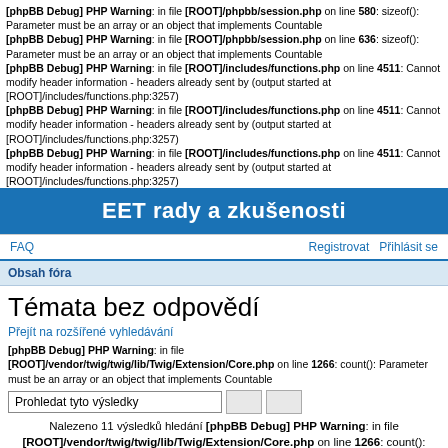[phpBB Debug] PHP Warning: in file [ROOT]/phpbb/session.php on line 580: sizeof(): Parameter must be an array or an object that implements Countable
[phpBB Debug] PHP Warning: in file [ROOT]/phpbb/session.php on line 636: sizeof(): Parameter must be an array or an object that implements Countable
[phpBB Debug] PHP Warning: in file [ROOT]/includes/functions.php on line 4511: Cannot modify header information - headers already sent by (output started at [ROOT]/includes/functions.php:3257)
[phpBB Debug] PHP Warning: in file [ROOT]/includes/functions.php on line 4511: Cannot modify header information - headers already sent by (output started at [ROOT]/includes/functions.php:3257)
[phpBB Debug] PHP Warning: in file [ROOT]/includes/functions.php on line 4511: Cannot modify header information - headers already sent by (output started at [ROOT]/includes/functions.php:3257)
EET rady a zkušenosti
FAQ    Registrovat    Přihlásit se
Obsah fóra
Témata bez odpovědí
Přejít na rozšířené vyhledávání
[phpBB Debug] PHP Warning: in file [ROOT]/vendor/twig/twig/lib/Twig/Extension/Core.php on line 1266: count(): Parameter must be an array or an object that implements Countable
Prohledat tyto výsledky
Nalezeno 11 výsledků hledání [phpBB Debug] PHP Warning: in file [ROOT]/vendor/twig/twig/lib/Twig/Extension/Core.php on line 1266: count(): Parameter must be an array or an object that implements Countable • Stránka 1 z 1
Témata